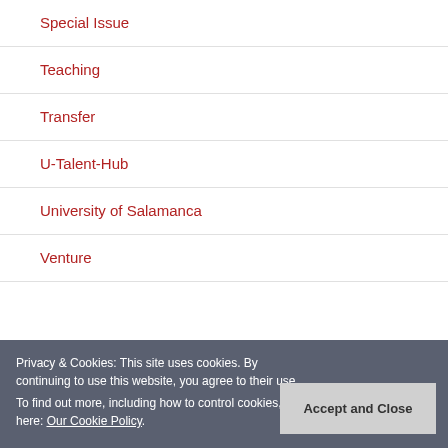Special Issue
Teaching
Transfer
U-Talent-Hub
University of Salamanca
Venture
Privacy & Cookies: This site uses cookies. By continuing to use this website, you agree to their use. To find out more, including how to control cookies, see here: Our Cookie Policy
Accept and Close